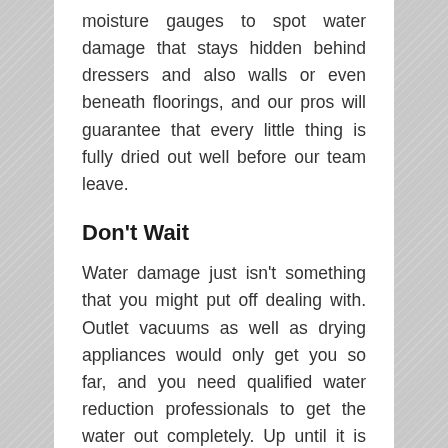moisture gauges to spot water damage that stays hidden behind dressers and also walls or even beneath floorings, and our pros will guarantee that every little thing is fully dried out well before our team leave.
Don't Wait
Water damage just isn't something that you might put off dealing with. Outlet vacuums as well as drying appliances would only get you so far, and you need qualified water reduction professionals to get the water out completely. Up until it is carefully removed and the property is repaired, water might get underneath baseboards as well as inside moldings, leak through rug, or even induce damage to some other areas as well as rooms of the home. If your